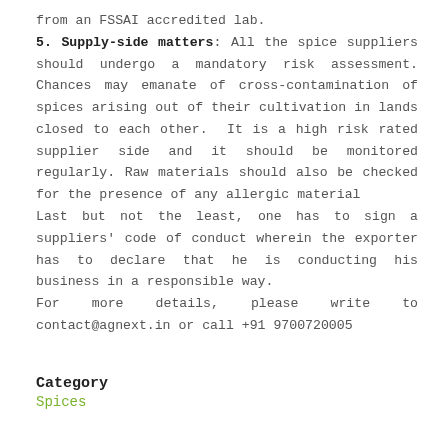from an FSSAI accredited lab.
5. Supply-side matters: All the spice suppliers should undergo a mandatory risk assessment. Chances may emanate of cross-contamination of spices arising out of their cultivation in lands closed to each other.  It is a high risk rated supplier side and it should be monitored regularly. Raw materials should also be checked for the presence of any allergic material
Last but not the least, one has to sign a suppliers' code of conduct wherein the exporter has to declare that he is conducting his business in a responsible way.
For more details, please write to contact@agnext.in or call +91 9700720005
Category
Spices